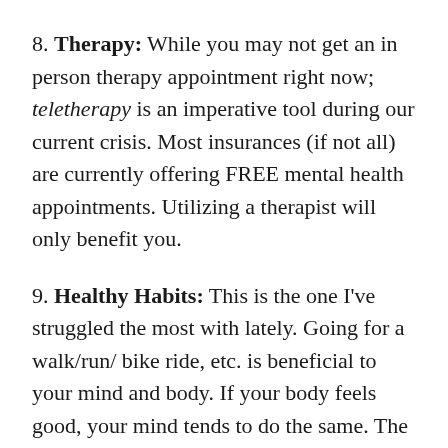8. Therapy: While you may not get an in person therapy appointment right now; teletherapy is an imperative tool during our current crisis. Most insurances (if not all) are currently offering FREE mental health appointments. Utilizing a therapist will only benefit you.
9. Healthy Habits: This is the one I've struggled the most with lately. Going for a walk/run/ bike ride, etc. is beneficial to your mind and body. If your body feels good, your mind tends to do the same. The same